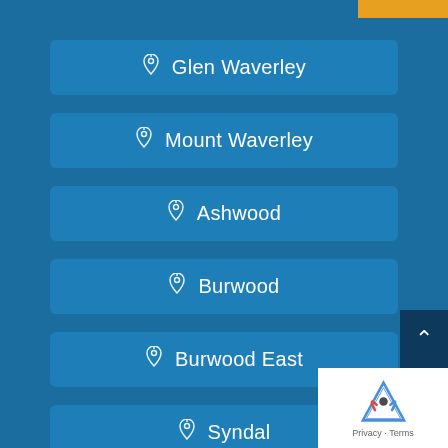Glen Waverley
Mount Waverley
Ashwood
Burwood
Burwood East
Syndal
[Figure (other): reCAPTCHA badge with Privacy and Terms links]